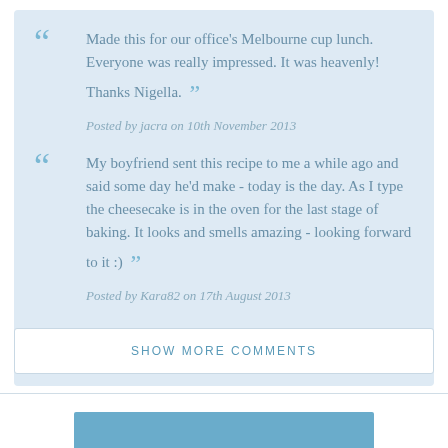Made this for our office's Melbourne cup lunch. Everyone was really impressed. It was heavenly! Thanks Nigella.
Posted by jacra on 10th November 2013
My boyfriend sent this recipe to me a while ago and said some day he'd make - today is the day. As I type the cheesecake is in the oven for the last stage of baking. It looks and smells amazing - looking forward to it :)
Posted by Kara82 on 17th August 2013
SHOW MORE COMMENTS